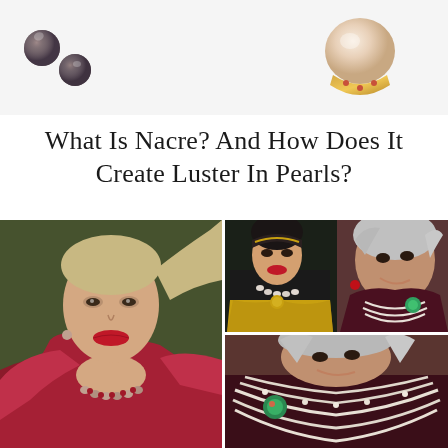[Figure (photo): Top left: dark tahitian pearl earrings on white background]
[Figure (photo): Top right: gold pearl ring with gemstone accents on white background]
What Is Nacre? And How Does It Create Luster In Pearls?
[Figure (photo): Left large photo: blonde woman (Gigi Hadid) wearing a deep red satin outfit and pearl/gemstone necklace at a fashion event]
[Figure (photo): Right top photo: young woman with dark hair wearing pearl necklace and gold outfit at Met Gala]
[Figure (photo): Right bottom photo: older woman with gray hair wearing white multi-strand pearl necklace and dark velvet outfit]